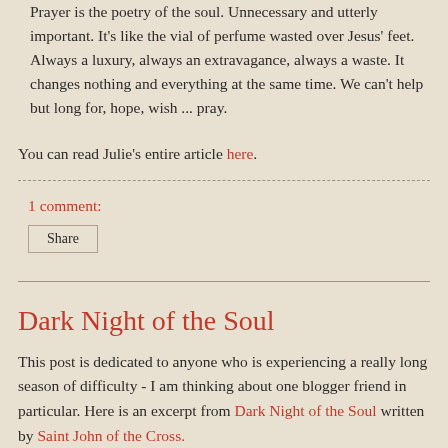Prayer is the poetry of the soul. Unnecessary and utterly important. It's like the vial of perfume wasted over Jesus' feet. Always a luxury, always an extravagance, always a waste. It changes nothing and everything at the same time. We can't help but long for, hope, wish ... pray.
You can read Julie's entire article here.
1 comment:
Share
Dark Night of the Soul
This post is dedicated to anyone who is experiencing a really long season of difficulty - I am thinking about one blogger friend in particular. Here is an excerpt from Dark Night of the Soul written by Saint John of the Cross.
These souls turn back at such a time if there is none who